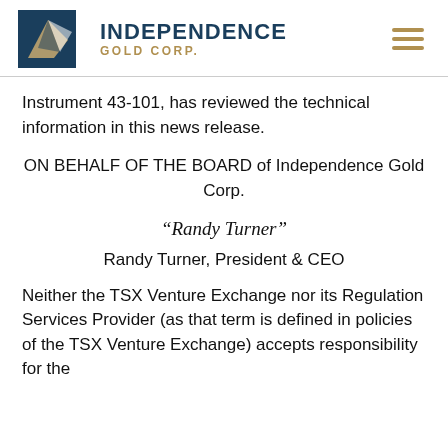[Figure (logo): Independence Gold Corp. logo with teal/navy diamond shape and gold accent, company name in dark blue bold text with gold 'GOLD CORP.' subtitle]
Instrument 43-101, has reviewed the technical information in this news release.
ON BEHALF OF THE BOARD of Independence Gold Corp.
“Randy Turner”
Randy Turner, President & CEO
Neither the TSX Venture Exchange nor its Regulation Services Provider (as that term is defined in policies of the TSX Venture Exchange) accepts responsibility for the